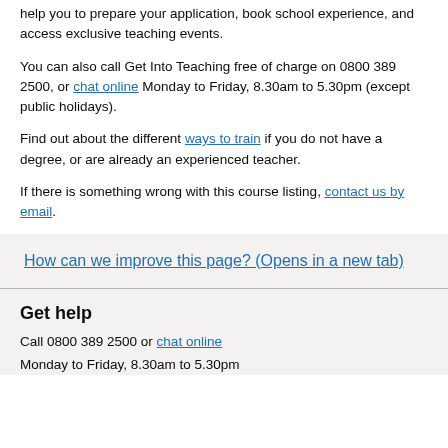help you to prepare your application, book school experience, and access exclusive teaching events.
You can also call Get Into Teaching free of charge on 0800 389 2500, or chat online Monday to Friday, 8.30am to 5.30pm (except public holidays).
Find out about the different ways to train if you do not have a degree, or are already an experienced teacher.
If there is something wrong with this course listing, contact us by email.
How can we improve this page? (Opens in a new tab)
Get help
Call 0800 389 2500 or chat online
Monday to Friday, 8.30am to 5.30pm